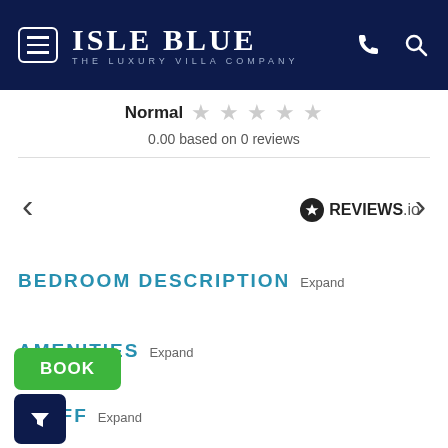ISLE BLUE — THE LUXURY VILLA COMPANY
Normal ★★★★★ 0.00 based on 0 reviews
[Figure (screenshot): Left navigation arrow (<) and right navigation arrow (>)]
[Figure (logo): REVIEWS.io logo with star badge]
BEDROOM DESCRIPTION Expand
AMENITIES Expand
STAFF Expand
[Figure (other): Green BOOK button and dark navy filter icon button]